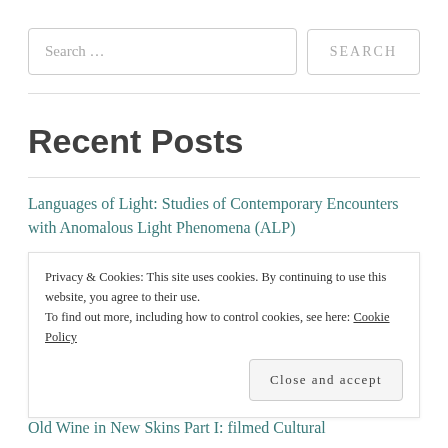Search …
Recent Posts
Languages of Light: Studies of Contemporary Encounters with Anomalous Light Phenomena (ALP)
WIP: Assorted Rejoinders to Scientism's Anti-Scientific Dogma
Privacy & Cookies: This site uses cookies. By continuing to use this website, you agree to their use. To find out more, including how to control cookies, see here: Cookie Policy
Close and accept
Old Wine in New Skins Part I: filmed Cultural